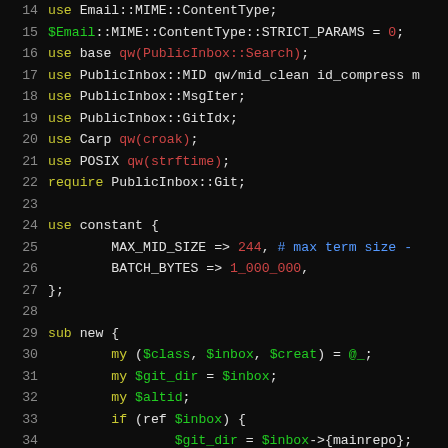[Figure (screenshot): Syntax-highlighted Perl source code showing lines 14-44 of a PublicInbox indexing module on a dark background. Lines include use statements, constants, and a sub new function with variable assignments and conditional logic.]